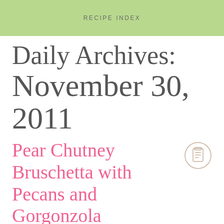RECIPE INDEX
Daily Archives:
November 30, 2011
Pear Chutney Bruschetta with Pecans and Gorgonzola
November 30, 2011
Shannon
1 comment
appetizer, bread, dried fruit, food, pear